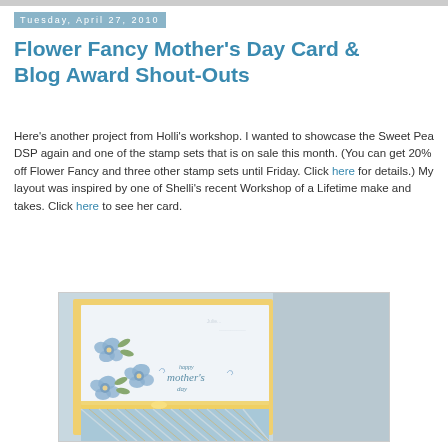Tuesday, April 27, 2010
Flower Fancy Mother's Day Card & Blog Award Shout-Outs
Here's another project from Holli's workshop. I wanted to showcase the Sweet Pea DSP again and one of the stamp sets that is on sale this month. (You can get 20% off Flower Fancy and three other stamp sets until Friday. Click here for details.) My layout was inspired by one of Shelli's recent Workshop of a Lifetime make and takes. Click here to see her card.
[Figure (photo): A handmade Mother's Day card with a yellow card base, white panel decorated with blue flowers and green leaves, text reading 'happy mother's day', and a yellow ribbon accent. The bottom portion shows blue striped designer paper.]